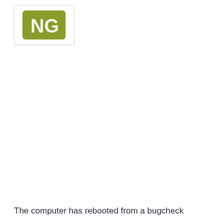[Figure (other): A olive/yellow-green rounded rectangle icon with white text or symbol partially visible, shown inside a white card/box with a light gray border shadow.]
The computer has rebooted from a bugcheck